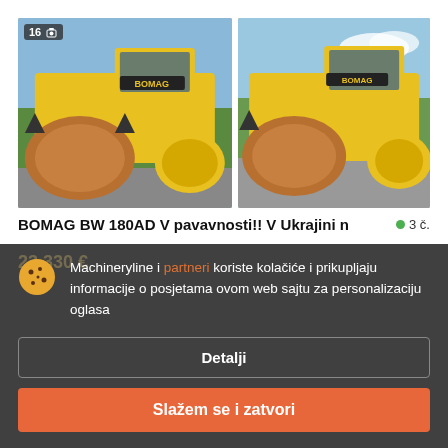[Figure (photo): Two yellow BOMAG BW 180AD road rollers side by side. Left image has a badge showing '16' with camera icon. Both show large yellow compaction rollers with black scraper blades, photographed outdoors.]
BOMAG BW 180AD V pavavnosti!! V Ukrajini n
3 č.
23 330 €
Machineryline i partneri koriste kolačiće i prikupljaju informacije o posjetama ovom web sajtu za personalizaciju oglasa
Detalji
Slažem se i zatvori